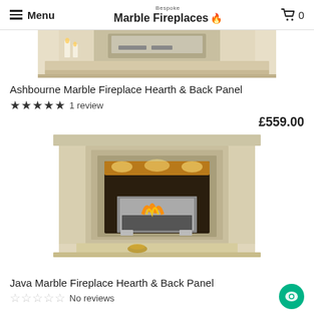Menu | Bespoke Marble Fireplaces | 0
[Figure (photo): Partial top view of Ashbourne marble fireplace surround in cream/ivory color]
Ashbourne Marble Fireplace Hearth & Back Panel
★★★★★ 1 review
£559.00
[Figure (photo): Java marble fireplace surround in cream/ivory with lit gas fire, chrome insert, and warm glowing lights]
Java Marble Fireplace Hearth & Back Panel
☆☆☆☆☆ No reviews